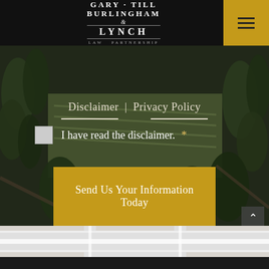[Figure (logo): Gary Till Burlingham & Lynch Law Partnership logo in white text on black header bar]
[Figure (photo): Aerial photograph of forested landscape with fields and trees, dark overlay]
Disclaimer | Privacy Policy
I have read the disclaimer. *
Send Us Your Information Today
[Figure (map): Street map background at bottom of page]